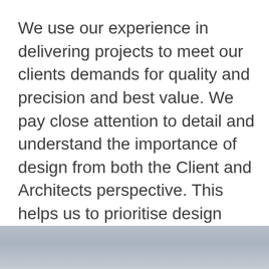We use our experience in delivering projects to meet our clients demands for quality and precision and best value. We pay close attention to detail and understand the importance of design from both the Client and Architects perspective. This helps us to prioritise design critical aspects of a projects and offer ideas which may save cost and time but which maintain quality.
[Figure (photo): Partial view of a building or architectural interior/exterior, grayish-blue toned photo cropped at the bottom of the page]